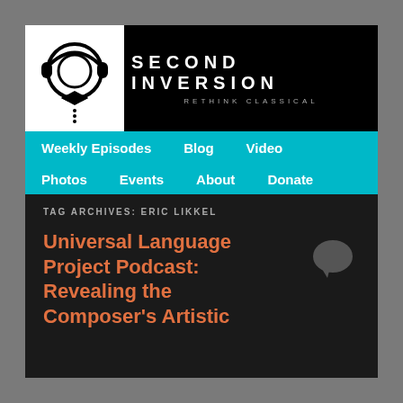[Figure (logo): Second Inversion podcast logo: headphones over a circle with a bow tie, in black and white]
SECOND INVERSION
RETHINK CLASSICAL
Weekly Episodes  Blog  Video  Photos  Events  About  Donate
TAG ARCHIVES: ERIC LIKKEL
Universal Language Project Podcast: Revealing the Composer's Artistic